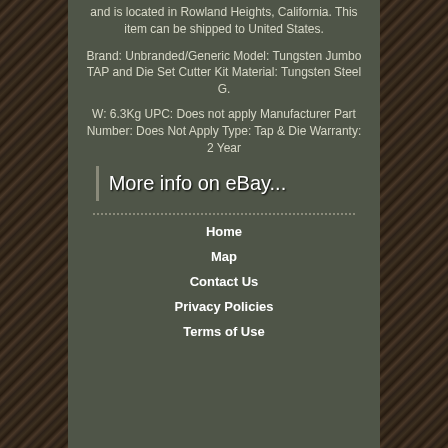and is located in Rowland Heights, California. This item can be shipped to United States.
Brand: Unbranded/Generic Model: Tungsten Jumbo TAP and Die Set Cutter Kit Material: Tungsten Steel G.
W: 6.3Kg UPC: Does not apply Manufacturer Part Number: Does Not Apply Type: Tap & Die Warranty: 2 Year
[Figure (other): More info on eBay... button/link with left border accent]
Home
Map
Contact Us
Privacy Policies
Terms of Use